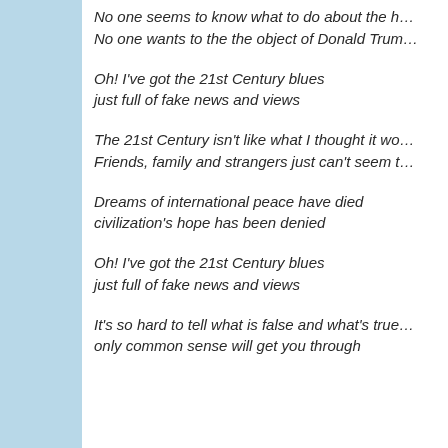No one seems to know what to do about the h…
No one wants to the the object of Donald Trum…
Oh! I've got the 21st Century blues
just full of fake news and views
The 21st Century isn't like what I thought it wo…
Friends, family and strangers just can't seem t…
Dreams of international peace have died
civilization's hope has been denied
Oh! I've got the 21st Century blues
just full of fake news and views
It's so hard to tell what is false and what's true…
only common sense will get you through